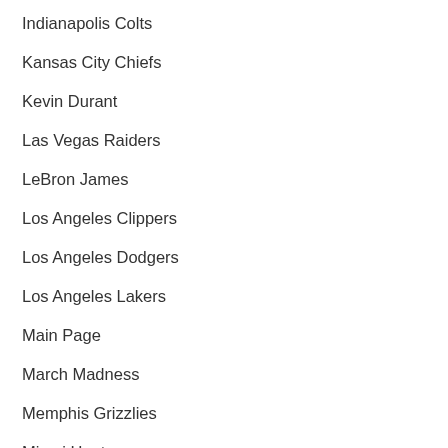Indianapolis Colts
Kansas City Chiefs
Kevin Durant
Las Vegas Raiders
LeBron James
Los Angeles Clippers
Los Angeles Dodgers
Los Angeles Lakers
Main Page
March Madness
Memphis Grizzlies
Miami Heat
Milwaukee Brewers